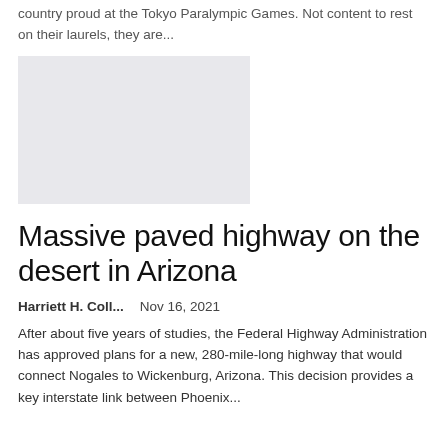country proud at the Tokyo Paralympic Games. Not content to rest on their laurels, they are...
[Figure (photo): Gray placeholder image for an article photo]
Massive paved highway on the desert in Arizona
Harriett H. Coll...   Nov 16, 2021
After about five years of studies, the Federal Highway Administration has approved plans for a new, 280-mile-long highway that would connect Nogales to Wickenburg, Arizona. This decision provides a key interstate link between Phoenix...